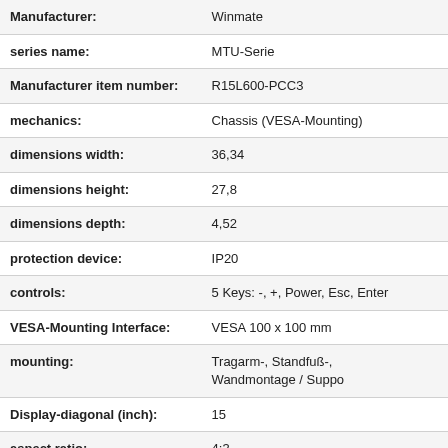| Property | Value |
| --- | --- |
| Manufacturer: | Winmate |
| series name: | MTU-Serie |
| Manufacturer item number: | R15L600-PCC3 |
| mechanics: | Chassis (VESA-Mounting) |
| dimensions width: | 36,34 |
| dimensions height: | 27,8 |
| dimensions depth: | 4,52 |
| protection device: | IP20 |
| controls: | 5 Keys: -, +, Power, Esc, Enter |
| VESA-Mounting Interface: | VESA 100 x 100 mm |
| mounting: | Tragarm-, Standfuß-, Wandmontage / Suppo |
| Display-diagonal (inch): | 15 |
| aspect ratio: | 4:3 |
| resolution: | 1024 x 768 |
| brightness: | 250 cd/m² |
| contrast: | 700:1 |